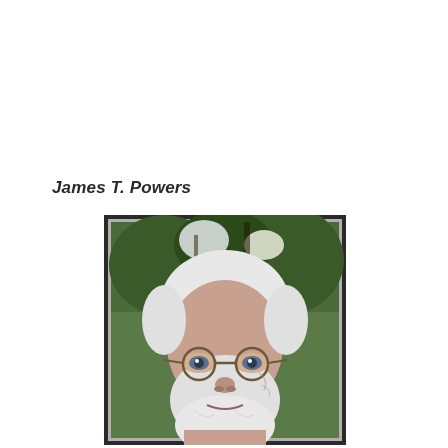James T. Powers
[Figure (photo): Headshot portrait of James T. Powers, an elderly man with white hair and a white beard, wearing round wire-rimmed glasses, smiling slightly, photographed outdoors in front of green trees and foliage.]